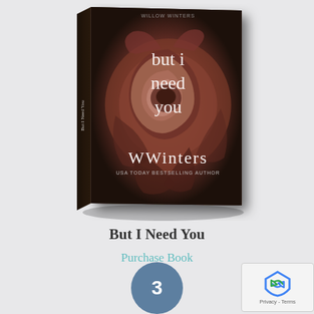[Figure (photo): A 3D rendered book cover for 'But I Need You' by W. Winters. The cover features a large dark rose photograph with the title text 'but i need you' overlaid in a serif font. The author name 'WWinters' appears at the bottom with 'USA Today Bestselling Author' subtitle. The book is shown at a slight angle as a physical paperback.]
But I Need You
Purchase Book
3